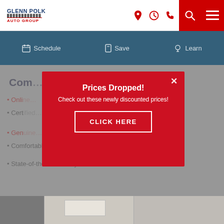Glenn Polk Auto Group
Schedule | Save | Learn
Convenience Amenities
Online [link]
Certified [partial]
Genuine [link]
Comfortable Waiting Area
State-of-the-Art Facility
[Figure (screenshot): Popup modal on Glenn Polk Auto Group dealership website showing 'Prices Dropped!' promotional overlay with a red background, white text reading 'Check out these newly discounted prices!', and a white-bordered CLICK HERE button.]
[Figure (photo): Bottom strip showing interior of dealership facility]